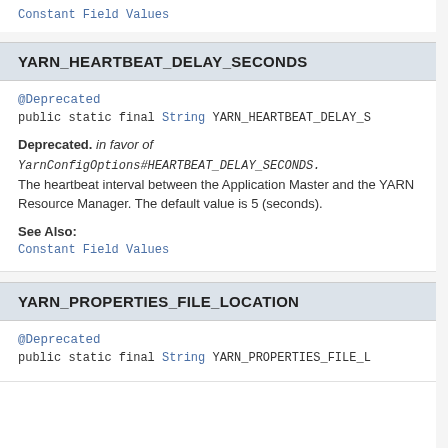Constant Field Values
YARN_HEARTBEAT_DELAY_SECONDS
@Deprecated
public static final String YARN_HEARTBEAT_DELAY_S
Deprecated. in favor of YarnConfigOptions#HEARTBEAT_DELAY_SECONDS. The heartbeat interval between the Application Master and the YARN Resource Manager. The default value is 5 (seconds).
See Also:
Constant Field Values
YARN_PROPERTIES_FILE_LOCATION
@Deprecated
public static final String YARN_PROPERTIES_FILE_L